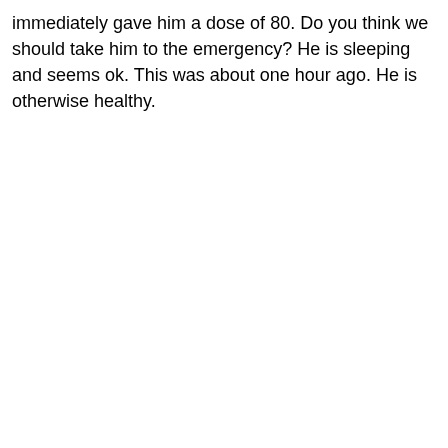immediately gave him a dose of 80. Do you think we should take him to the emergency? He is sleeping and seems ok. This was about one hour ago. He is otherwise healthy.